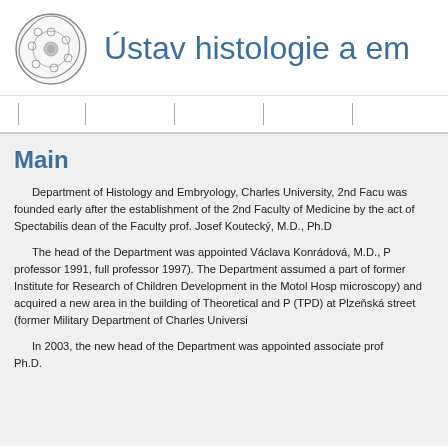[Figure (logo): Circular microscopy/histology logo image showing cell cross-section]
Ústav histologie a em
Main
Department of Histology and Embryology, Charles University, 2nd Faculty of Medicine was founded early after the establishment of the 2nd Faculty of Medicine by the act of Spectabilis dean of the Faculty prof. Josef Koutecký, M.D., Ph.D
The head of the Department was appointed Václava Konrádová, M.D., Ph.D. (associate professor 1991, full professor 1997). The Department assumed a part of laboratories of the former Institute for Research of Children Development in the Motol Hospital (electron microscopy) and acquired a new area in the building of Theoretical and Preclinical Disciplines (TPD) at Plzeňská street (former Military Department of Charles University).
In 2003, the new head of the Department was appointed associate prof. ... Ph.D.